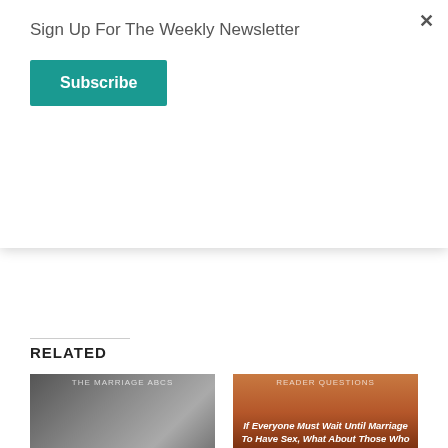Sign Up For The Weekly Newsletter
Subscribe
[Figure (screenshot): Like button with blogger avatars and '7 bloggers like this.']
RELATED
[Figure (photo): Black and white photo of couple lying down, with italic text 'S for Sex And Sexuality']
The Marriage ABCs – S for Sex and Sexuality
May 19, 2019
[Figure (photo): Sunset silhouette photo with text 'If Everyone Must Wait Until Marriage To Have Sex, What About Those Who Don't Want Marriage?']
Editor's Pick: If everyone must wait until marriage to have sex, what about